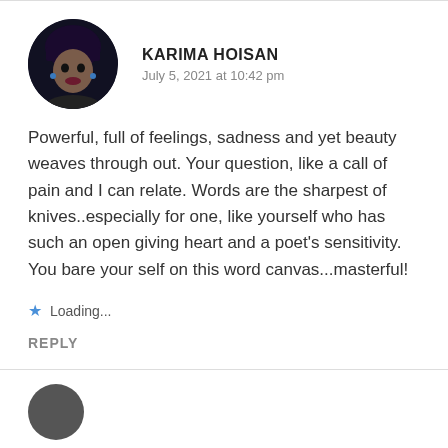[Figure (photo): Circular avatar photo of Karima Hoisan, a woman with dark hair and dramatic makeup against a dark background]
KARIMA HOISAN
July 5, 2021 at 10:42 pm
Powerful, full of feelings, sadness and yet beauty weaves through out. Your question, like a call of pain and I can relate. Words are the sharpest of knives..especially for one, like yourself who has such an open giving heart and a poet’s sensitivity. You bare your self on this word canvas...masterful!
Loading...
REPLY